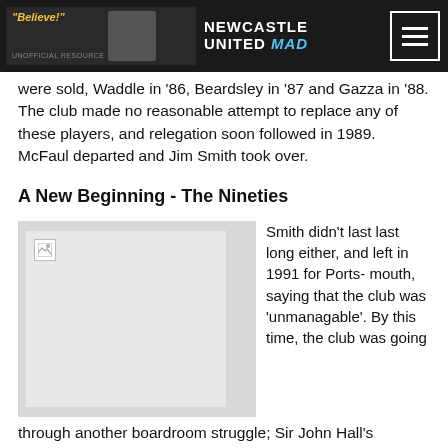Newcastle United Mad
were sold, Waddle in '86, Beardsley in '87 and Gazza in '88. The club made no reasonable attempt to replace any of these players, and relegation soon followed in 1989. McFaul departed and Jim Smith took over.
A New Beginning - The Nineties
[Figure (photo): Broken image placeholder in a grey box, likely a historic Newcastle United photo]
Smith didn't last last long either, and left in 1991 for Ports- mouth, saying that the club was 'unmanagable'. By this time, the club was going
through another boardroom struggle; Sir John Hall's